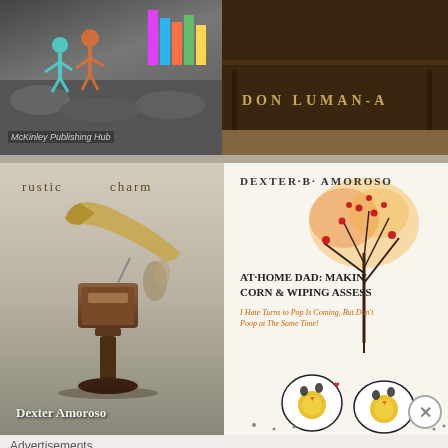[Figure (photo): Top-left image: figures on moon-like rocky surface with colorful books/objects, teal and orange human figures. Caption: McKinley Publishing Hub]
[Figure (photo): Top-right image: dark brown leather book spine with text DON LUMAN-A... on wooden surface]
[Figure (photo): Main large image left half: Book cover 'rustic charm' by Dexter Amoroso featuring vintage gramophone on pedestal table]
[Figure (photo): Main large image right half: Book cover 'DEXTER B. AMOROSO - AT HOME DAD: MAKIN CORN & WIPING ASSESS' with watercolor autumn tree and cartoon egg characters]
Advertisements
[Figure (photo): Advertisement banner: Over 150,000 5-star reviews. DAY ONE JOURNAL. Left side shows silhouette of person photographing sunset.]